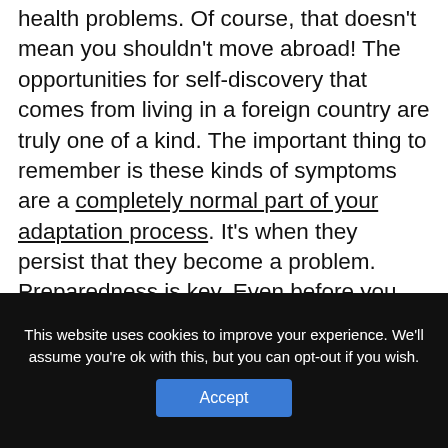health problems. Of course, that doesn't mean you shouldn't move abroad! The opportunities for self-discovery that comes from living in a foreign country are truly one of a kind. The important thing to remember is these kinds of symptoms are a completely normal part of your adaptation process. It's when they persist that they become a problem.  Preparedness is key. Even before you move,  there are many things you can do cope with culture shock.  With awareness — and perhaps a bit of professional help — culture shock will be nothing more than a
This website uses cookies to improve your experience. We'll assume you're ok with this, but you can opt-out if you wish.